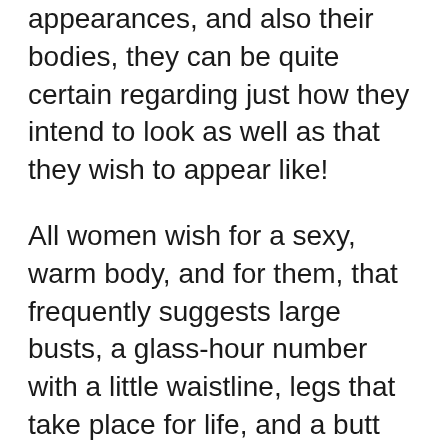appearances, and also their bodies, they can be quite certain regarding just how they intend to look as well as that they wish to appear like!
All women wish for a sexy, warm body, and for them, that frequently suggests large busts, a glass-hour number with a little waistline, legs that take place for life, and a butt that is high, firm, and yet voluptuous.
And also obviously Hollywood, with its beautiful people and also cash to transform shapes and sizes by the day, well, ordinary women with average earnings often just need to dream … They need to rely on push-up bras or the most up to date creams and remedies that promise a voluptuous bosom.